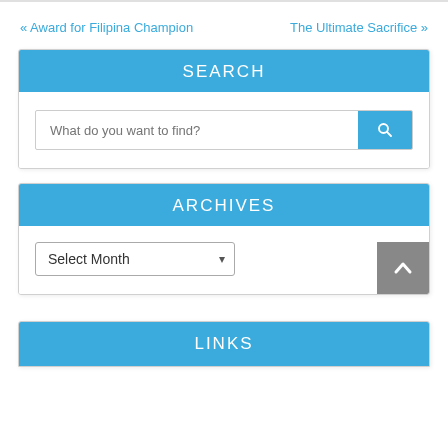« Award for Filipina Champion    The Ultimate Sacrifice »
SEARCH
What do you want to find?
ARCHIVES
Select Month
LINKS